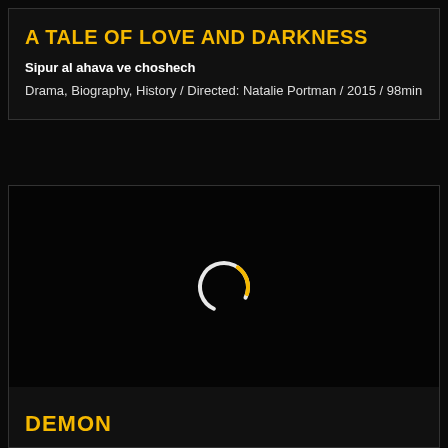A TALE OF LOVE AND DARKNESS
Sipur al ahava ve choshech
Drama, Biography, History / Directed: Natalie Portman / 2015 / 98min
[Figure (other): Loading spinner — a circular spinner ring with a golden arc segment at top and white arc below, on a black background]
DEMON